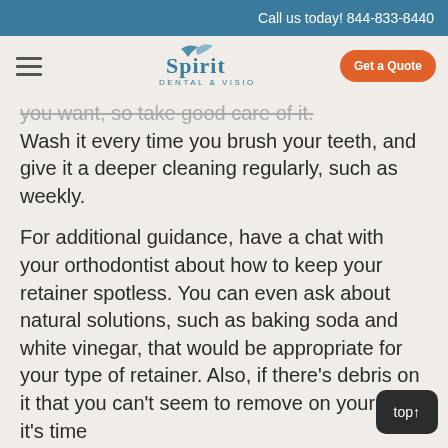Call us today! 844-833-8440
[Figure (logo): Spirit Dental & Vision logo with stylized bird mark]
you want, so take good care of it. Wash it every time you brush your teeth, and give it a deeper cleaning regularly, such as weekly.
For additional guidance, have a chat with your orthodontist about how to keep your retainer spotless. You can even ask about natural solutions, such as baking soda and white vinegar, that would be appropriate for your type of retainer. Also, if there's debris on it that you can't seem to remove on your own, it's time